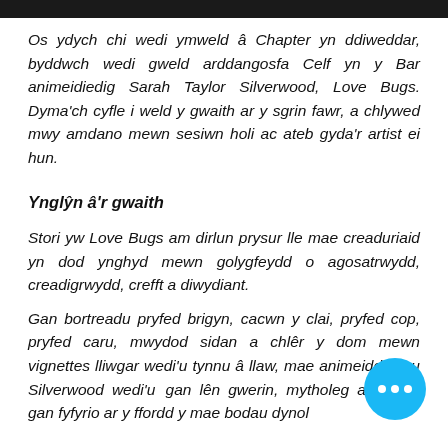Os ydych chi wedi ymweld â Chapter yn ddiweddar, byddwch wedi gweld arddangosfa Celf yn y Bar animeidiedig Sarah Taylor Silverwood, Love Bugs. Dyma'ch cyfle i weld y gwaith ar y sgrin fawr, a chlywed mwy amdano mewn sesiwn holi ac ateb gyda'r artist ei hun.
Ynglŷn â'r gwaith
Stori yw Love Bugs am dirlun prysur lle mae creaduriaid yn dod ynghyd mewn golygfeydd o agosatrwydd, creadigrwydd, crefft a diwydiant.
Gan bortreadu pryfed brigyn, cacwn y clai, pryfed cop, pryfed caru, mwydod sidan a chlêr y dom mewn vignettes lliwgar wedi'u tynnu â llaw, mae animeiddiadau Silverwood wedi'u... gan lên gwerin, mytholeg a threfta... gan fyfyrio ar y ffordd y mae bodau dynol